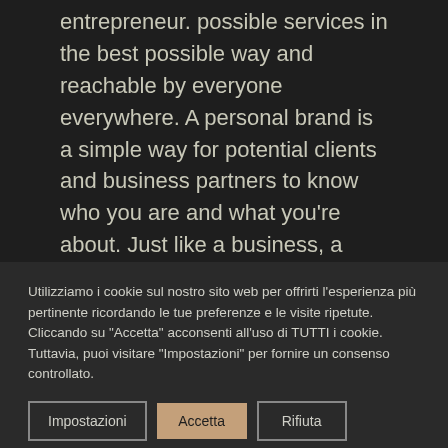...ability of a single professional entrepreneur. possible services in the best possible way and reachable by everyone everywhere. A personal brand is a simple way for potential clients and business partners to know who you are and what you're about. Just like a business, a personal brand is about marketing yourself as a unique individual. Digital Marketing Blog defines personal
Utilizziamo i cookie sul nostro sito web per offrirti l'esperienza più pertinente ricordando le tue preferenze e le visite ripetute. Cliccando su "Accetta" acconsenti all'uso di TUTTI i cookie. Tuttavia, puoi visitare "Impostazioni" per fornire un consenso controllato.
Impostazioni | Accetta | Rifiuta